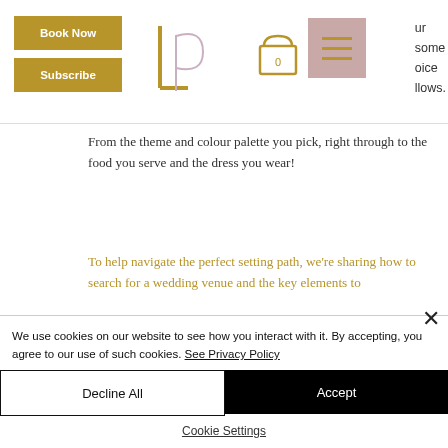Book Now | Subscribe | [Logo] | [Cart] | [Menu]
From the theme and colour palette you pick, right through to the food you serve and the dress you wear!
To help navigate the perfect setting path, we're sharing how to search for a wedding venue and the key elements to
We use cookies on our website to see how you interact with it. By accepting, you agree to our use of such cookies. See Privacy Policy
Decline All
Accept
Cookie Settings